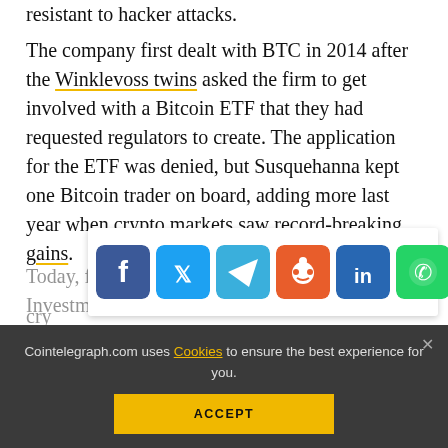resistant to hacker attacks.
The company first dealt with BTC in 2014 after the Winklevoss twins asked the firm to get involved with a Bitcoin ETF that they had requested regulators to create. The application for the ETF was denied, but Susquehanna kept one Bitcoin trader on board, adding more last year when crypto markets saw record-breaking gains.
Today, financial services corporation Fidelity Investment announced... crypto... cloud. The company will seek to offer "first-in-class custodian services for Bitcoin and other digital currencies."
[Figure (other): Social media share bar with icons for Facebook, Twitter, Telegram, Reddit, LinkedIn, WhatsApp, Copy, and scroll-to-top]
Cointelegraph.com uses Cookies to ensure the best experience for you.
ACCEPT